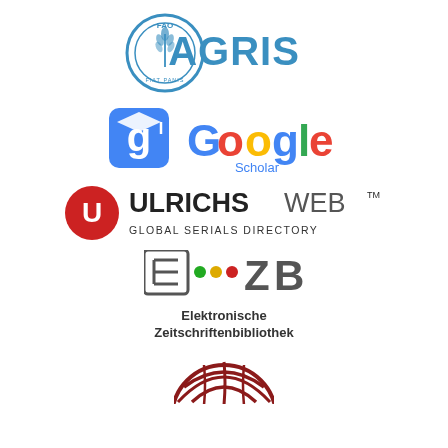[Figure (logo): FAO AGRIS logo: circular FAO emblem in blue on the left, AGRIS text in large blue bold letters on the right]
[Figure (logo): Google Scholar logo: blue rounded square with graduation cap g icon, followed by multicolored Google text and Scholar subtitle]
[Figure (logo): UlrichsWeb Global Serials Directory logo: red circle with U icon, bold ULRICHSWEB with TM superscript and lighter WEB text, GLOBAL SERIALS DIRECTORY subtitle]
[Figure (logo): EZB logo: E-Z-B text with colored dots, Elektronische Zeitschriftenbibliothek text below]
[Figure (logo): Partial globe logo in dark red/maroon at the bottom, partially cropped]